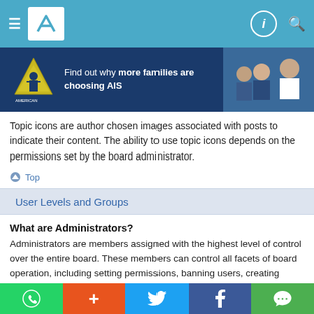Navigation bar with menu, logo, info icon, and search icon
[Figure (infographic): Advertisement banner: AIS logo (yellow triangle with figure) on dark blue background with text 'Find out why more families are choosing AIS' and photo of students/professionals]
Topic icons are author chosen images associated with posts to indicate their content. The ability to use topic icons depends on the permissions set by the board administrator.
Top
User Levels and Groups
What are Administrators?
Administrators are members assigned with the highest level of control over the entire board. These members can control all facets of board operation, including setting permissions, banning users, creating usergroups or moderators, etc., dependent upon the board founder and what permissions he or she has given the other administrators. They may also have full moderator capabilities in all forums, depending on the settings put forth by
Social share bar: WhatsApp, Plus, Twitter, Facebook, WeChat